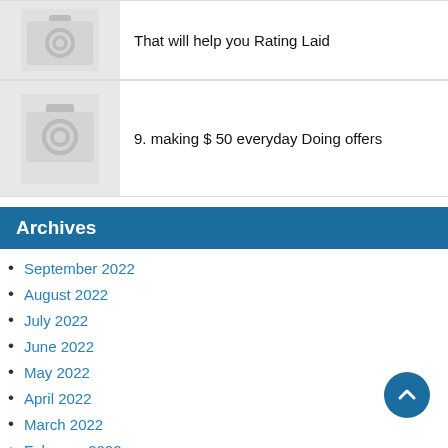[Figure (illustration): Camera placeholder image icon]
That will help you Rating Laid
[Figure (illustration): Camera placeholder image icon]
9. making $ 50 everyday Doing offers
Archives
September 2022
August 2022
July 2022
June 2022
May 2022
April 2022
March 2022
February 2022
January 2022
December 2021